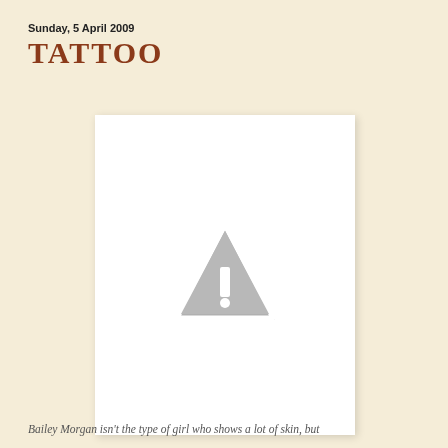Sunday, 5 April 2009
TATTOO
[Figure (photo): Placeholder image with warning triangle icon indicating missing or unavailable photograph]
Bailey Morgan isn't the type of girl who shows a lot of skin, but